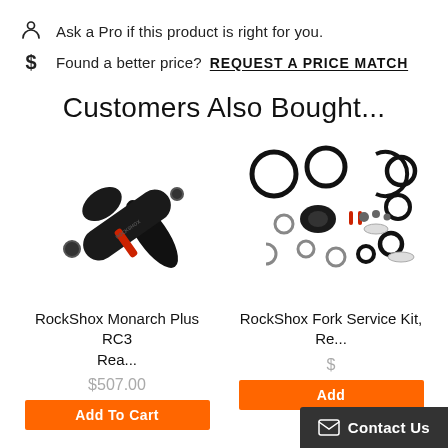Ask a Pro if this product is right for you.
Found a better price? REQUEST A PRICE MATCH
Customers Also Bought...
[Figure (photo): RockShox Monarch Plus RC3 rear shock absorber, black with red accent ring]
RockShox Monarch Plus RC3 Rea...
$507.00
Add To Cart
[Figure (photo): RockShox Fork Service Kit with various o-rings, clips, and small parts laid out on white background]
RockShox Fork Service Kit, Re...
Add
Contact Us